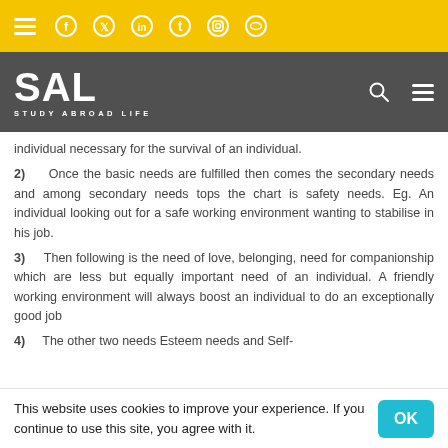Study Abroad Life — navigation bar with social icons and logo
individual necessary for the survival of an individual.
2) Once the basic needs are fulfilled then comes the secondary needs and among secondary needs tops the chart is safety needs. Eg. An individual looking out for a safe working environment wanting to stabilise in his job.
3) Then following is the need of love, belonging, need for companionship which are less but equally important need of an individual. A friendly working environment will always boost an individual to do an exceptionally good job
4) The other two needs Esteem needs and Self-actualisation needs having attributes like self esteem
This website uses cookies to improve your experience. If you continue to use this site, you agree with it.